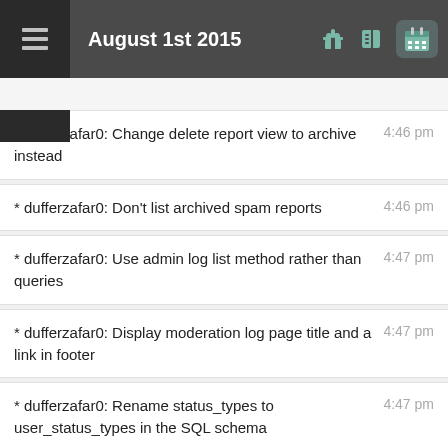August 1st 2015
* dufferzafar0: Change delete report view to archive instead
* dufferzafar0: Don't list archived spam reports
* dufferzafar0: Use admin log list method rather than queries
* dufferzafar0: Display moderation log page title and a link in footer
* dufferzafar0: Rename status_types to user_status_types in the SQL schema
* dufferzafar0: Add a review property to moderation log